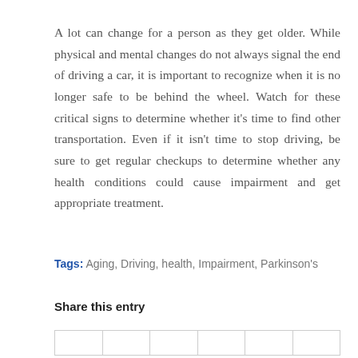A lot can change for a person as they get older. While physical and mental changes do not always signal the end of driving a car, it is important to recognize when it is no longer safe to be behind the wheel. Watch for these critical signs to determine whether it's time to find other transportation. Even if it isn't time to stop driving, be sure to get regular checkups to determine whether any health conditions could cause impairment and get appropriate treatment.
Tags: Aging, Driving, health, Impairment, Parkinson's
Share this entry
|  |  |  |  |  |  |